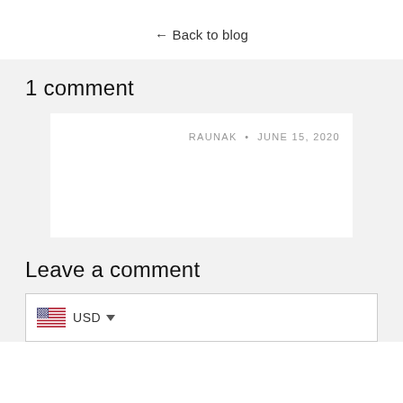← Back to blog
1 comment
RAUNAK • JUNE 15, 2020
Leave a comment
USD ▼